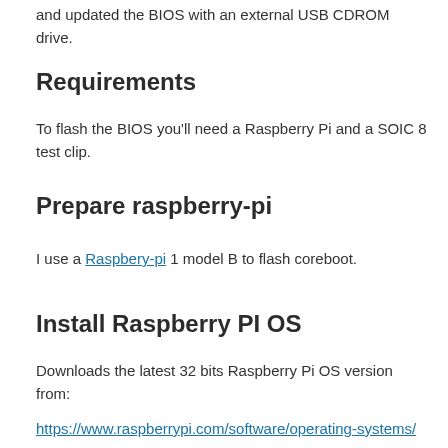and updated the BIOS with an external USB CDROM drive.
Requirements
To flash the BIOS you'll need a Raspberry Pi and a SOIC 8 test clip.
Prepare raspberry-pi
I use a Raspbery-pi 1 model B to flash coreboot.
Install Raspberry PI OS
Downloads the latest 32 bits Raspberry Pi OS version from:
https://www.raspberrypi.com/software/operating-systems/